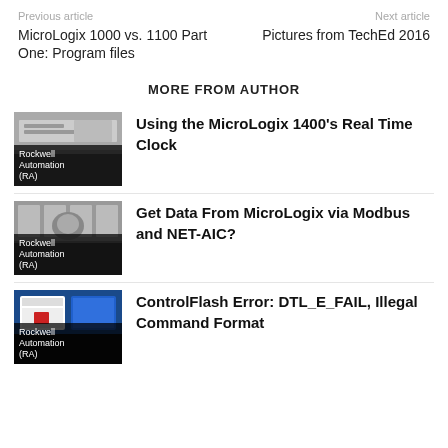Previous article    Next article
MicroLogix 1000 vs. 1100 Part One: Program files
Pictures from TechEd 2016
MORE FROM AUTHOR
[Figure (photo): Rockwell Automation (RA) thumbnail image for MicroLogix 1400 Real Time Clock article]
Using the MicroLogix 1400's Real Time Clock
[Figure (photo): Rockwell Automation (RA) thumbnail image for MicroLogix via Modbus and NET-AIC article]
Get Data From MicroLogix via Modbus and NET-AIC?
[Figure (photo): Rockwell Automation (RA) thumbnail image for ControlFlash Error article]
ControlFlash Error: DTL_E_FAIL, Illegal Command Format